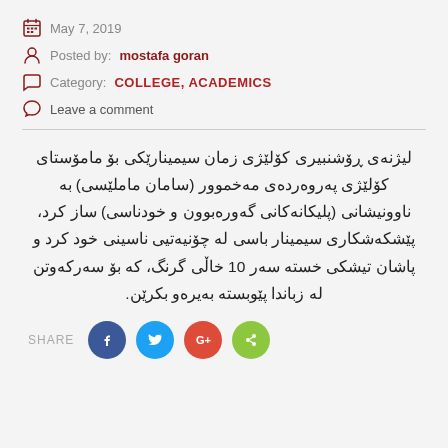May 7, 2019
Posted by: mostafa goran
Category: COLLEGE, ACADEMICS
Leave a comment
لیژنەی ڕۆشنبیری کۆلێژی زمان سیمینارێکی بۆ مامۆستای کۆلێژی پەروەردەی مەخموور (سامان ماملێسی) بە ناوونیشانی (پلیکانەکانی گەورەبوون و خودناسی) ساز کرد، پێشکەشکاری سیمینار باسی لە چۆنیەتیی ناسینی خود کرد و پاشان تیشکی خستە سەر 10 خاڵی گرنگ، کە بۆ سەرکەوتن لە زباندا پێوبستە بەیرەو بکرێن.
SHARE